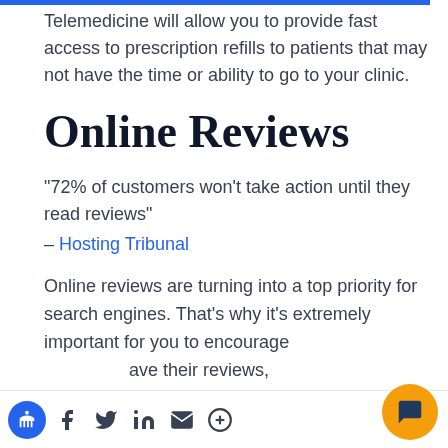Telemedicine will allow you to provide fast access to prescription refills to patients that may not have the time or ability to go to your clinic.
Online Reviews
“72% of customers won’t take action until they read reviews” – Hosting Tribunal
Online reviews are turning into a top priority for search engines. That’s why it’s extremely important for you to encourage ... ave their reviews, ... s the first thing people look for when searching for a new doctor